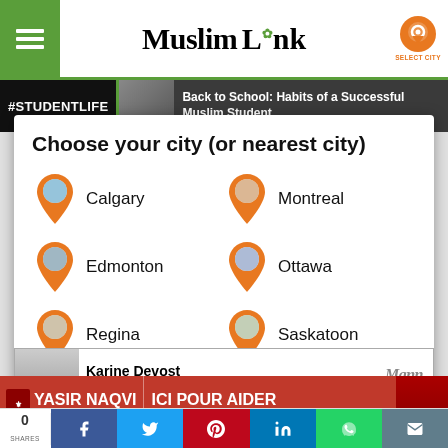Muslim Link — Select City
[Figure (screenshot): Banner: #STUDENTLIFE — Back to School: Habits of a Successful Muslim Student]
Choose your city (or nearest city)
Calgary
Montreal
Edmonton
Ottawa
Regina
Saskatoon
[Figure (photo): Advertisement: Karine Devost — Personal Injury and Family Law, Mann Lawyers, 613-722-1500, 11 Holland Avenue, Suite 300, Ottawa]
[Figure (photo): Advertisement: Yasir Naqvi, député Ottawa-Centre — ICI POUR AIDER, Yasir.Naqvi@parl.gc.ca]
0 SHARES — Facebook, Twitter, Pinterest, LinkedIn, WhatsApp, Email share buttons